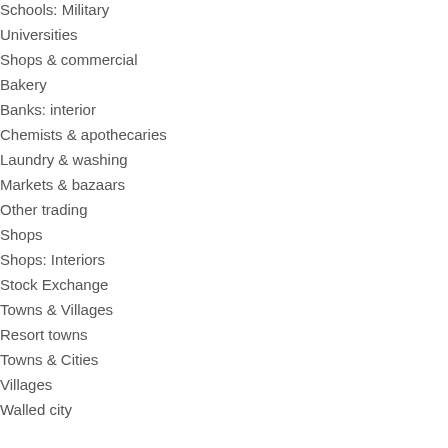Schools: Military
Universities
Shops & commercial
Bakery
Banks: interior
Chemists & apothecaries
Laundry & washing
Markets & bazaars
Other trading
Shops
Shops: Interiors
Stock Exchange
Towns & Villages
Resort towns
Towns & Cities
Villages
Walled city